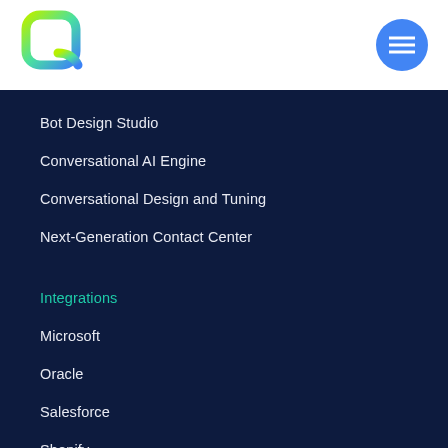[Figure (logo): Stylized Q letter logo with gradient from green/yellow to blue]
Bot Design Studio
Conversational AI Engine
Conversational Design and Tuning
Next-Generation Contact Center
Integrations
Microsoft
Oracle
Salesforce
Shopify
Zendesk